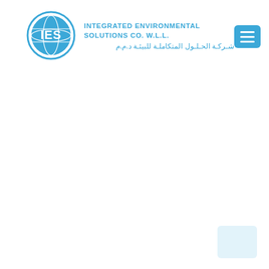[Figure (logo): IES circular logo with globe graphic and 'IES' letters in blue, alongside company name in English 'Integrated Environmental Solutions Co. W.L.L.' and Arabic text, plus a blue hamburger menu button on the right]